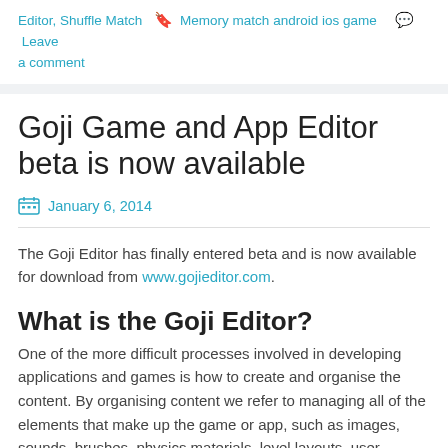Editor, Shuffle Match   Memory match android ios game   Leave a comment
Goji Game and App Editor beta is now available
January 6, 2014
The Goji Editor has finally entered beta and is now available for download from www.gojieditor.com.
What is the Goji Editor?
One of the more difficult processes involved in developing applications and games is how to create and organise the content. By organising content we refer to managing all of the elements that make up the game or app, such as images, sounds, brushes, physics materials, level layouts, user interface layouts, scripts and so on. The Goji Editor primarily helps you to quickly create and test game levels / app layouts and organise